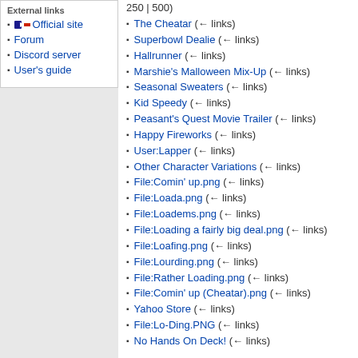External links
Official site
Forum
Discord server
User's guide
250 | 500)
The Cheatar (← links)
Superbowl Dealie (← links)
Hallrunner (← links)
Marshie's Malloween Mix-Up (← links)
Seasonal Sweaters (← links)
Kid Speedy (← links)
Peasant's Quest Movie Trailer (← links)
Happy Fireworks (← links)
User:Lapper (← links)
Other Character Variations (← links)
File:Comin' up.png (← links)
File:Loada.png (← links)
File:Loadems.png (← links)
File:Loading a fairly big deal.png (← links)
File:Loafing.png (← links)
File:Lourding.png (← links)
File:Rather Loading.png (← links)
File:Comin' up (Cheatar).png (← links)
Yahoo Store (← links)
File:Lo-Ding.PNG (← links)
No Hands On Deck! (← links)